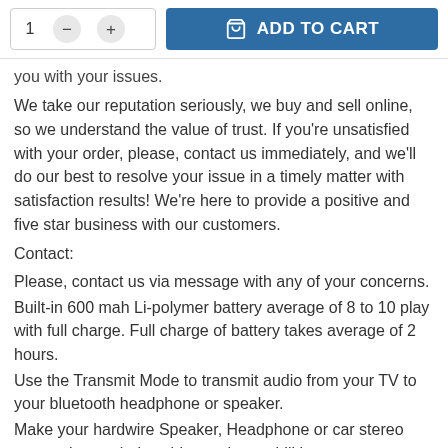[Figure (screenshot): Add to cart UI with quantity selector showing '1' with minus and plus buttons, and a blue 'ADD TO CART' button with a shopping bag icon]
you with your issues.
We take our reputation seriously, we buy and sell online, so we understand the value of trust. If you're unsatisfied with your order, please, contact us immediately, and we'll do our best to resolve your issue in a timely matter with satisfaction results! We're here to provide a positive and five star business with our customers.
Contact:
Please, contact us via message with any of your concerns.
Built-in 600 mah Li-polymer battery average of 8 to 10 play with full charge. Full charge of battery takes average of 2 hours.
Use the Transmit Mode to transmit audio from your TV to your bluetooth headphone or speaker.
Make your hardwire Speaker, Headphone or car stereo system have wireless bluetooth capabilities.
Real time low latency and high quality audio transmission.
Your audio transmission master: Used for all your audio interface devices like your TV, PC, CD Player and etc.